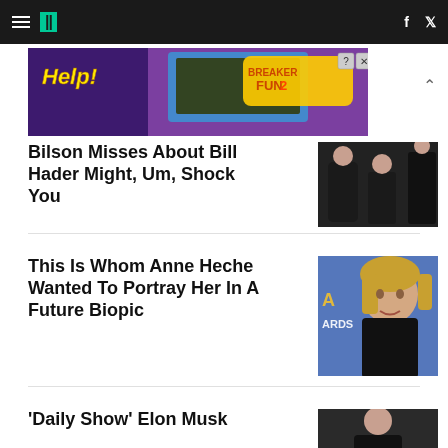HuffPost navigation header with logo, hamburger menu, Facebook and Twitter icons
[Figure (screenshot): Advertisement banner: purple background, Help! text in yellow italic, cartoon characters, Breaker Fun 2 game ad with close and help buttons]
Bilson Misses About Bill Hader Might, Um, Shock You
[Figure (photo): Photo of a man in tuxedo and a woman in black dress at formal event]
This Is Whom Anne Heche Wanted To Portray Her In A Future Biopic
[Figure (photo): Photo of Anne Heche at an awards event with 'ARDS' text visible on blue background]
'Daily Show' Elon Musk